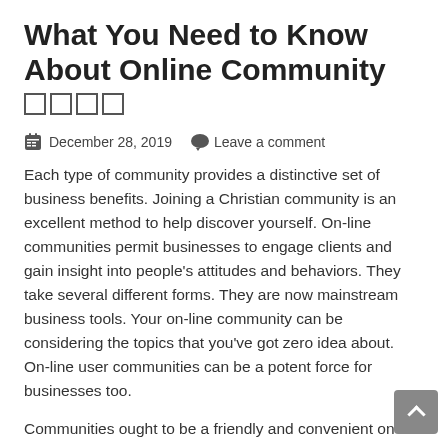What You Need to Know About Online Community
□□□□
December 28, 2019   Leave a comment
Each type of community provides a distinctive set of business benefits. Joining a Christian community is an excellent method to help discover yourself. On-line communities permit businesses to engage clients and gain insight into people's attitudes and behaviors. They take several different forms. They are now mainstream business tools. Your on-line community can be considering the topics that you've got zero idea about. On-line user communities can be a potent force for businesses too.
Communities ought to be a friendly and convenient on-